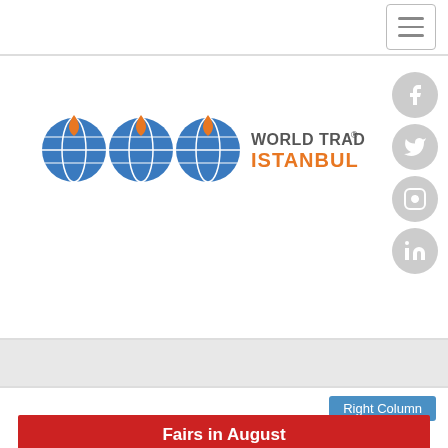Navigation bar with hamburger menu
[Figure (logo): World Trade Center Istanbul logo with three globe icons in blue/orange and text 'WORLD TRADE CENTER® ISTANBUL']
[Figure (infographic): Social media icons: Facebook, Twitter, Instagram, LinkedIn — gray circles on right side]
[Figure (other): Gray advertisement banner placeholder]
Right Column
Fairs in August
Istanbul Furniture Fair